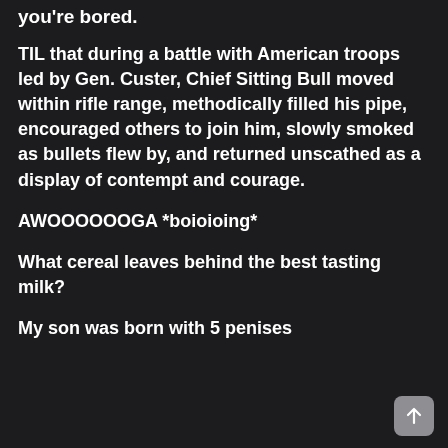you're bored.
TIL that during a battle with American troops led by Gen. Custer, Chief Sitting Bull moved within rifle range, methodically filled his pipe, encouraged others to join him, slowly smoked as bullets flew by, and returned unscathed as a display of contempt and courage.
AWOOOOOOGA *boioioing*
What cereal leaves behind the best tasting milk?
My son was born with 5 penises